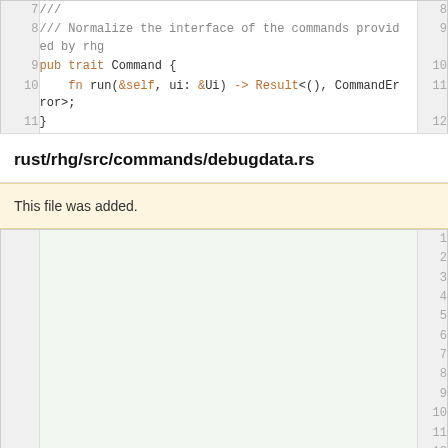[Figure (screenshot): Code diff view showing lines 7-11 of a Rust source file with syntax highlighting. Line 7: ///, Line 8: /// Normalize the interface of the commands provided by rhg, Line 9: pub trait Command {, Line 10: fn run(&self, ui: &Ui) -> Result<(), CommandError>;, Line 11: }]
rust/rhg/src/commands/debugdata.rs
This file was added.
[Figure (screenshot): Empty new file code diff area with line numbers 1-13 on the right side, showing added empty lines in a light green background.]